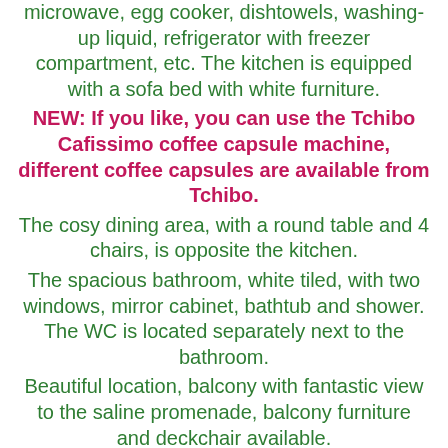microwave, egg cooker, dishtowels, washing-up liquid, refrigerator with freezer compartment, etc. The kitchen is equipped with a sofa bed with white furniture.
NEW: If you like, you can use the Tchibo Cafissimo coffee capsule machine, different coffee capsules are available from Tchibo.
The cosy dining area, with a round table and 4 chairs, is opposite the kitchen.
The spacious bathroom, white tiled, with two windows, mirror cabinet, bathtub and shower.
The WC is located separately next to the bathroom.
Beautiful location, balcony with fantastic view to the saline promenade, balcony furniture and deckchair available.